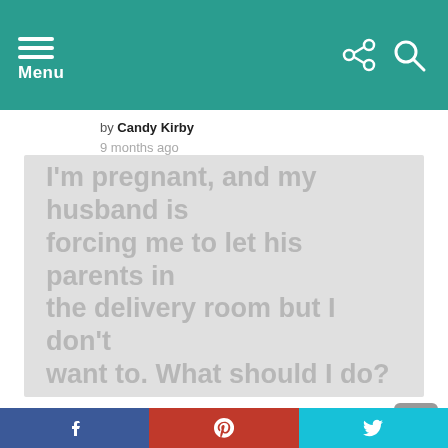Menu
by Candy Kirby
9 months ago
[Figure (illustration): Gray placeholder image with faded text overlay reading: I'm pregnant, and my husband is forcing me to let his parents in the delivery room but I don't want to. What should I do?]
Advice: “I’m Pregnant and My Husband Is Forcing Me to Let His Parents in the Delivery Room.”
Share buttons: Facebook, Pinterest, Twitter